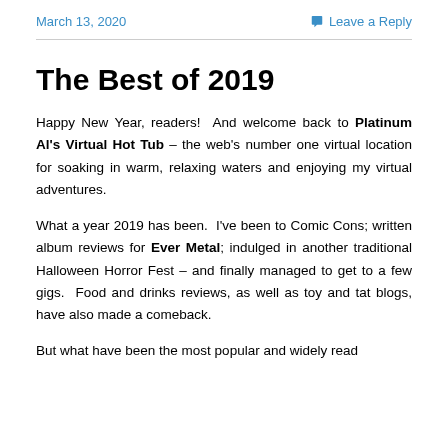March 13, 2020    Leave a Reply
The Best of 2019
Happy New Year, readers!  And welcome back to Platinum Al's Virtual Hot Tub – the web's number one virtual location for soaking in warm, relaxing waters and enjoying my virtual adventures.
What a year 2019 has been.  I've been to Comic Cons; written album reviews for Ever Metal; indulged in another traditional Halloween Horror Fest – and finally managed to get to a few gigs.  Food and drinks reviews, as well as toy and tat blogs, have also made a comeback.
But what have been the most popular and widely read